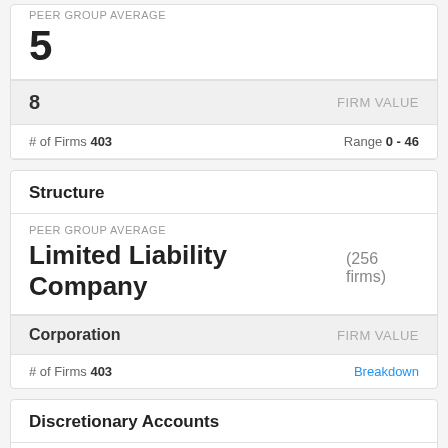PEER GROUP AVERAGE
5
8  FIRM VALUE
# of Firms 403  Range 0 - 46
Structure
PEER GROUP AVERAGE
Limited Liability Company (256 firms)
Corporation  FIRM VALUE
# of Firms 403  Breakdown
Discretionary Accounts